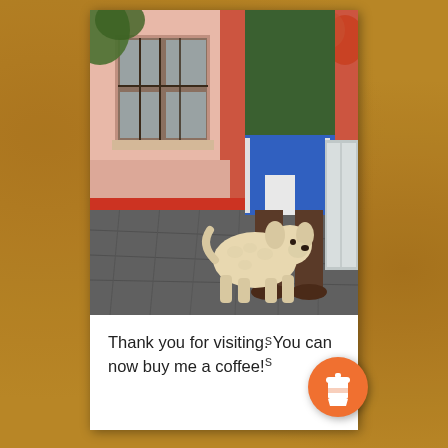[Figure (photo): A person wearing a green polo shirt and blue shorts stands against a pink and red wall on a cobblestone street. A fluffy cream-colored dog stands near the person's feet looking up. A barred window is visible on the wall above.]
Thank you for visiting. You can now buy me a coffee!